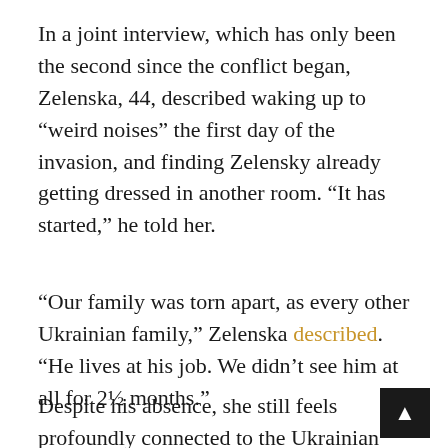In a joint interview, which has only been the second since the conflict began, Zelenska, 44, described waking up to “weird noises” the first day of the invasion, and finding Zelensky already getting dressed in another room. “It has started,” he told her.
“Our family was torn apart, as every other Ukrainian family,” Zelenska described. “He lives at his job. We didn’t see him at all for 2½ months.”
Despite his absence, she still feels profoundly connected to the Ukrainian president. “Nobody takes my husband away from me, not even the